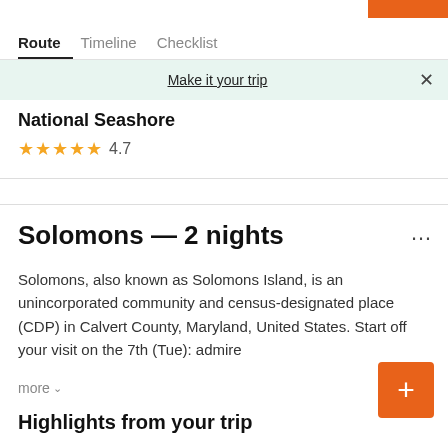Route | Timeline | Checklist
Make it your trip
National Seashore
★★★★★ 4.7
Solomons — 2 nights
Solomons, also known as Solomons Island, is an unincorporated community and census-designated place (CDP) in Calvert County, Maryland, United States. Start off your visit on the 7th (Tue): admire
more
Highlights from your trip